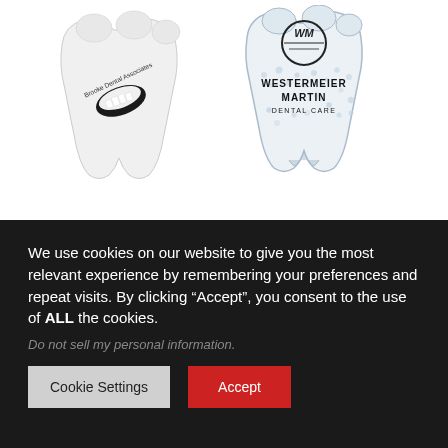[Figure (illustration): Two tooth-shaped promotional products side by side. Left: a white foam stress-relief tooth with 'Brooke Dental Associates' text and a smiling lips logo. Right: a clear gel-bead hot/cold therapy tooth with a 'WM' logo and text reading 'WESTERMEIER MARTIN DENTAL CARE'.]
We use cookies on our website to give you the most relevant experience by remembering your preferences and repeat visits. By clicking “Accept”, you consent to the use of ALL the cookies.
Do not sell my personal information.
Cookie Settings
Accept